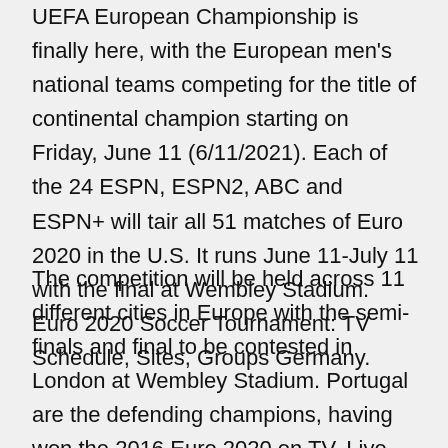UEFA European Championship is finally here, with the European men's national teams competing for the title of continental champion starting on Friday, June 11 (6/11/2021). Each of the 24 ESPN, ESPN2, ABC and ESPN+ will tair all 51 matches of Euro 2020 in the U.S. It runs June 11-July 11 with the final at Wembley Stadium. Euro 2020 Soccer Tournament: TV Schedule, Sites, Groups Germany.
The competition will be held across 11 different cities in Europe with the semi-finals and final to be contested in London at Wembley Stadium. Portugal are the defending champions, having won the 2016 Euro 2020 on TV. Live coverage of Euro 2020 matches are to be broadcasted on BBC and ITV in the summer of 2021 due to the postponement of the tournament in 2020. ITV will show two of England's Group D matches with